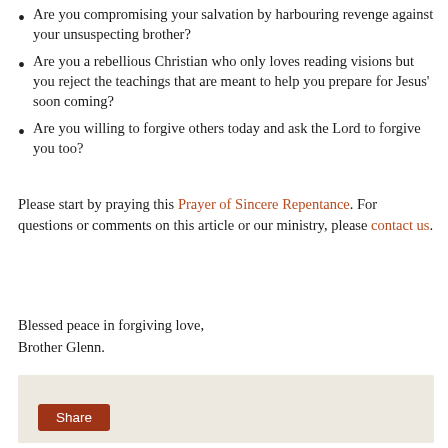Are you compromising your salvation by harbouring revenge against your unsuspecting brother?
Are you a rebellious Christian who only loves reading visions but you reject the teachings that are meant to help you prepare for Jesus’ soon coming?
Are you willing to forgive others today and ask the Lord to forgive you too?
Please start by praying this Prayer of Sincere Repentance. For questions or comments on this article or our ministry, please contact us.
Blessed peace in forgiving love,
Brother Glenn.
[Figure (other): Share button widget area with light beige background and a dark red Share button in the bottom left]